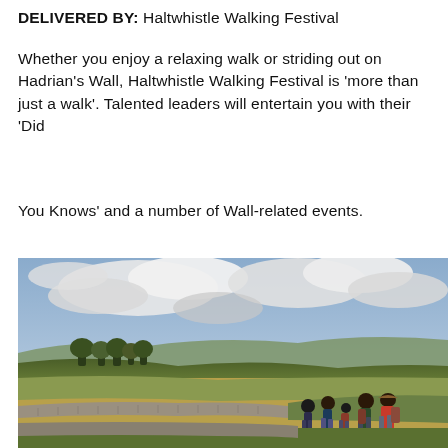DELIVERED BY: Haltwhistle Walking Festival
Whether you enjoy a relaxing walk or striding out on Hadrian’s Wall, Haltwhistle Walking Festival is ‘more than just a walk’. Talented leaders will entertain you with their ‘Did
You Knows’ and a number of Wall-related events.
[Figure (photo): A group of walkers on Hadrian’s Wall path, viewed from behind, walking along a stone wall with green rolling countryside and dramatic cloudy sky in the background.]